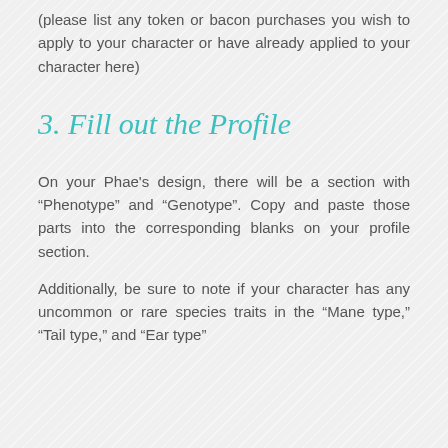(please list any token or bacon purchases you wish to apply to your character or have already applied to your character here)
3. Fill out the Profile
On your Phae's design, there will be a section with "Phenotype" and "Genotype". Copy and paste those parts into the corresponding blanks on your profile section.
Additionally, be sure to note if your character has any uncommon or rare species traits in the "Mane type," "Tail type," and "Ear type"